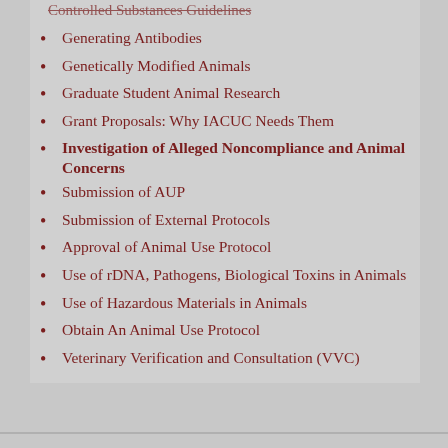Controlled Substances Guidelines (truncated/partial)
Generating Antibodies
Genetically Modified Animals
Graduate Student Animal Research
Grant Proposals: Why IACUC Needs Them
Investigation of Alleged Noncompliance and Animal Concerns
Submission of AUP
Submission of External Protocols
Approval of Animal Use Protocol
Use of rDNA, Pathogens, Biological Toxins in Animals
Use of Hazardous Materials in Animals
Obtain An Animal Use Protocol
Veterinary Verification and Consultation (VVC)